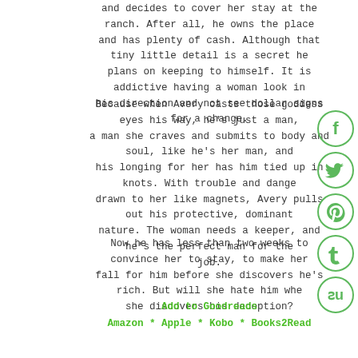and decides to cover her stay at the ranch. After all, he owns the place and has plenty of cash. Although that tiny little detail is a secret he plans on keeping to himself. It is addictive having a woman look in his direction and not see dollar signs for a change.
Because when Avery casts those goddess eyes his way, he's just a man, a man she craves and submits to body and soul, like he's her man, and his longing for her has him tied up in knots. With trouble and danger drawn to her like magnets, Avery pulls out his protective, dominant nature. The woman needs a keeper, and he's the perfect man for the job.
Now he has less than two weeks to convince her to stay, to make her fall for him before she discovers he's rich. But will she hate him when she discovers his deception?
Add to Goodreads
Amazon * Apple * Kobo * Books2Read